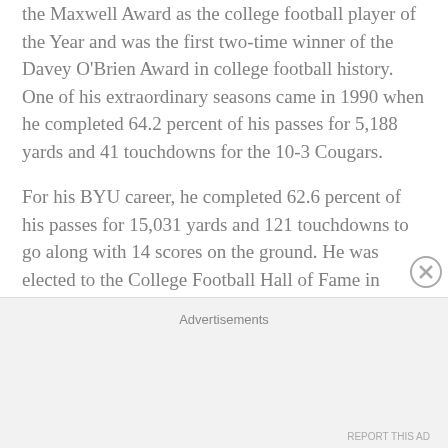the Maxwell Award as the college football player of the Year and was the first two-time winner of the Davey O'Brien Award in college football history. One of his extraordinary seasons came in 1990 when he completed 64.2 percent of his passes for 5,188 yards and 41 touchdowns for the 10-3 Cougars.
For his BYU career, he completed 62.6 percent of his passes for 15,031 yards and 121 touchdowns to go along with 14 scores on the ground. He was elected to the College Football Hall of Fame in 2012.
Advertisements